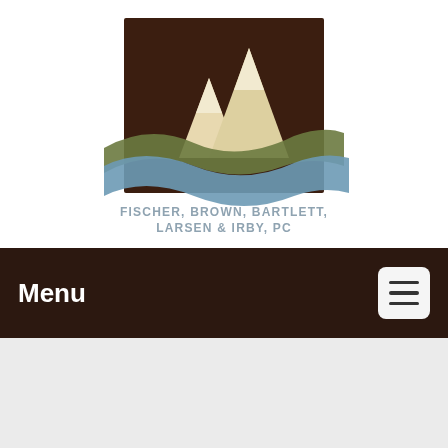[Figure (logo): Fischer, Brown, Bartlett, Larsen & Irby, PC law firm logo with mountain and river wave motifs on a dark brown square background, with firm name below in steel blue text]
Menu
[Figure (other): Light gray content area placeholder below navigation bar]